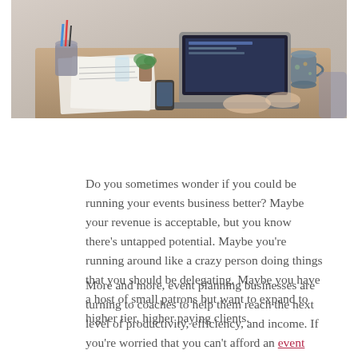[Figure (photo): Overhead photo of a person working at a wooden desk with a laptop, papers, coffee mug, and office supplies.]
Do you sometimes wonder if you could be running your events business better? Maybe your revenue is acceptable, but you know there's untapped potential. Maybe you're running around like a crazy person doing things that you should be delegating. Maybe you have a host of small patrons but want to expand to higher tier, higher paying clients.
More and more, event planning businesses are turning to coaches to help them reach the next level of productivity, efficiency, and income. If you're worried that you can't afford an event planning services coach right now, there's a strong argument that you can't afford NOT to.